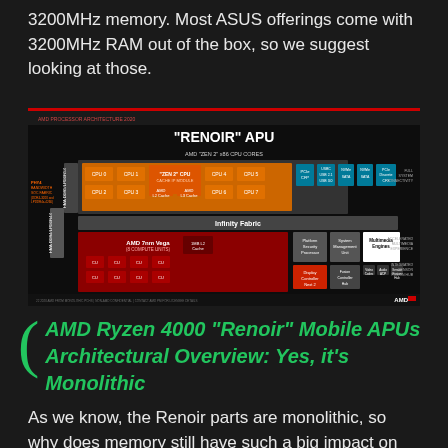3200MHz memory. Most ASUS offerings come with 3200MHz RAM out of the box, so we suggest looking at those.
[Figure (schematic): AMD Renoir APU architectural block diagram showing Zen 2 x86 CPU cores, Infinity Fabric, AMD 7nm Vega compute units, memory interfaces (DDR4-3200 and LPDDR4x-4266), PCIe, USB, SATA, NVMe connectivity, Multimedia Engines, Platform Security Processor, Display Controller, and Sensor Fusion Hub. AMD logo in bottom right.]
AMD Ryzen 4000 "Renoir" Mobile APUs Architectural Overview: Yes, it's Monolithic
As we know, the Renoir parts are monolithic, so why does memory still have such a big impact on gaming performance?